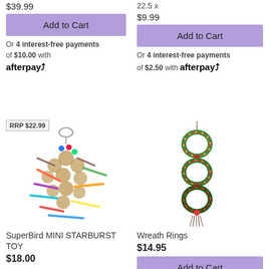$39.99
Add to Cart
Or 4 interest-free payments of $10.00 with afterpay
22.5 x
$9.99
Add to Cart
Or 4 interest-free payments of $2.50 with afterpay
[Figure (photo): SuperBird MINI STARBURST TOY - wicker balls and colorful sticks bird toy with carabiner]
SuperBird MINI STARBURST TOY
$18.00
[Figure (photo): Wreath Rings bird toy - three linked wreath rings with tassel]
Wreath Rings
$14.95
Add to Cart